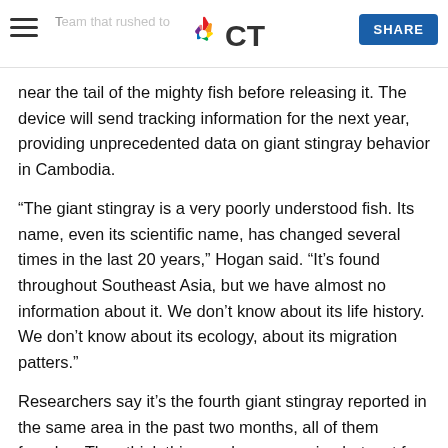The team that rushed to [tagging] | NBC CT | SHARE
near the tail of the mighty fish before releasing it. The device will send tracking information for the next year, providing unprecedented data on giant stingray behavior in Cambodia.
“The giant stingray is a very poorly understood fish. Its name, even its scientific name, has changed several times in the last 20 years,” Hogan said. “It’s found throughout Southeast Asia, but we have almost no information about it. We don’t know about its life history. We don’t know about its ecology, about its migration patters.”
Researchers say it’s the fourth giant stingray reported in the same area in the past two months, all of them females. They think this may be a spawning hotspot for the species.